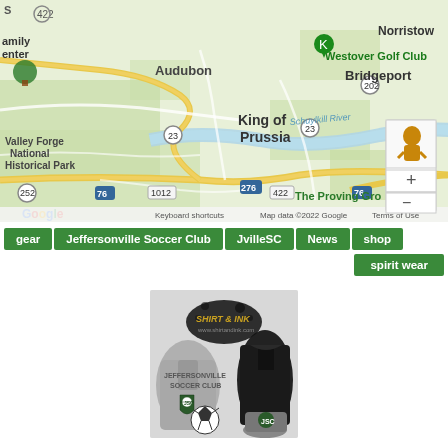[Figure (map): Google Maps screenshot showing King of Prussia, PA area including Valley Forge National Historical Park, Bridgeport, Norristown, Audubon, Westover Golf Club, Schuylkill River, highways 76, 276, 422, 202, 252, 23, 1012. Map data ©2022 Google. Zoom controls and street view pegman visible.]
gear
Jeffersonville Soccer Club
JvilleSC
News
shop
spirit wear
[Figure (photo): Shirt & Ink promotional image showing Jeffersonville Soccer Club branded apparel including grey hoodie, dark jacket, hat with JSC logo, and soccer ball. Logo text reads SHIRT & INK with ink splatter graphic. www.shirtandink.com]